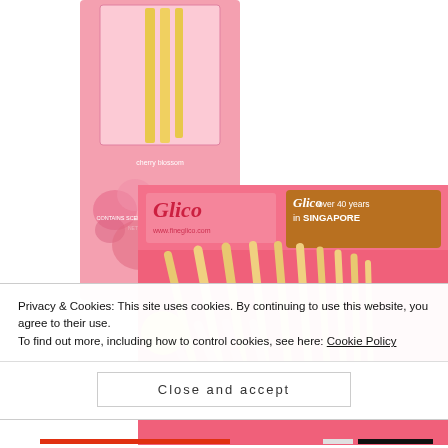[Figure (photo): Pink cherry blossom scented oil and wood diffuser product box, partially visible at top of page]
[Figure (photo): Glico Pocky strawberry biscuit sticks box, pink packaging with 'Pocky' branding and 'over 40 years in Singapore' label, positioned at right side]
Privacy & Cookies: This site uses cookies. By continuing to use this website, you agree to their use. To find out more, including how to control cookies, see here: Cookie Policy
Close and accept